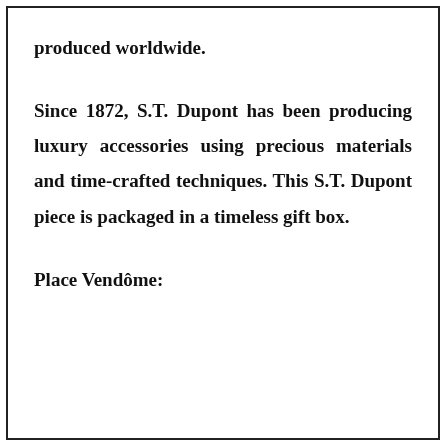produced worldwide.
Since 1872, S.T. Dupont has been producing luxury accessories using precious materials and time-crafted techniques. This S.T. Dupont piece is packaged in a timeless gift box.
Place Vendôme: